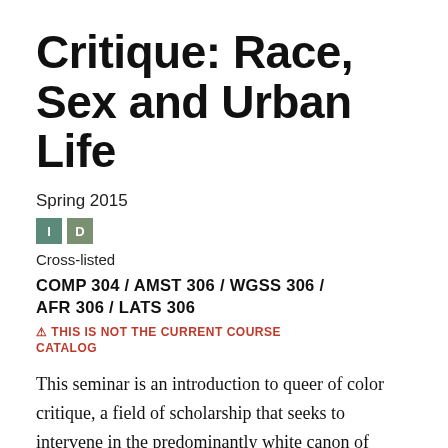Critique: Race, Sex and Urban Life
Spring 2015
[Figure (other): Two colored badge icons labeled 'I' and 'D' in teal/green squares]
Cross-listed
COMP 304 / AMST 306 / WGSS 306 / AFR 306 / LATS 306
⚠ THIS IS NOT THE CURRENT COURSE CATALOG
This seminar is an introduction to queer of color critique, a field of scholarship that seeks to intervene in the predominantly white canon of queer studies. We will examine the history of this line of critique, beginning with Black and Chicana feminisms and extending into present